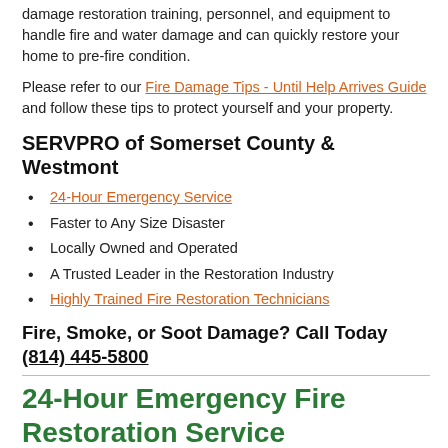damage restoration training, personnel, and equipment to handle fire and water damage and can quickly restore your home to pre-fire condition.
Please refer to our Fire Damage Tips - Until Help Arrives Guide and follow these tips to protect yourself and your property.
SERVPRO of Somerset County & Westmont
24-Hour Emergency Service
Faster to Any Size Disaster
Locally Owned and Operated
A Trusted Leader in the Restoration Industry
Highly Trained Fire Restoration Technicians
Fire, Smoke, or Soot Damage? Call Today (814) 445-5800
24-Hour Emergency Fire Restoration Service
Fire emergencies can happen day or night, on weekend or holidays. That's why we provide 24-hour emergency fire